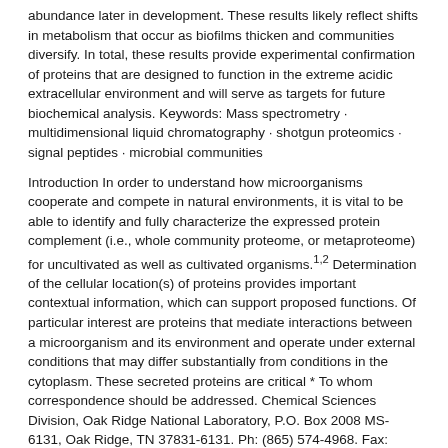abundance later in development. These results likely reflect shifts in metabolism that occur as biofilms thicken and communities diversify. In total, these results provide experimental confirmation of proteins that are designed to function in the extreme acidic extracellular environment and will serve as targets for future biochemical analysis. Keywords: Mass spectrometry · multidimensional liquid chromatography · shotgun proteomics · signal peptides · microbial communities
Introduction In order to understand how microorganisms cooperate and compete in natural environments, it is vital to be able to identify and fully characterize the expressed protein complement (i.e., whole community proteome, or metaproteome) for uncultivated as well as cultivated organisms.1,2 Determination of the cellular location(s) of proteins provides important contextual information, which can support proposed functions. Of particular interest are proteins that mediate interactions between a microorganism and its environment and operate under external conditions that may differ substantially from conditions in the cytoplasm. These secreted proteins are critical * To whom correspondence should be addressed. Chemical Sciences Division, Oak Ridge National Laboratory, P.O. Box 2008 MS-6131, Oak Ridge, TN 37831-6131. Ph: (865) 574-4968. Fax: (865) 576-8559. Email: hettichrl@ ornl.gov. †